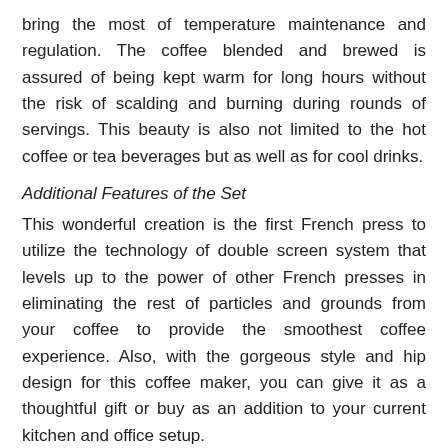bring the most of temperature maintenance and regulation. The coffee blended and brewed is assured of being kept warm for long hours without the risk of scalding and burning during rounds of servings. This beauty is also not limited to the hot coffee or tea beverages but as well as for cool drinks.
Additional Features of the Set
This wonderful creation is the first French press to utilize the technology of double screen system that levels up to the power of other French presses in eliminating the rest of particles and grounds from your coffee to provide the smoothest coffee experience. Also, with the gorgeous style and hip design for this coffee maker, you can give it as a thoughtful gift or buy as an addition to your current kitchen and office setup.
[Figure (other): Buy from amazon.com button]
8. Grunwerg Cafe Ole Double Wall Insulated Straight 12 Cup / 1...